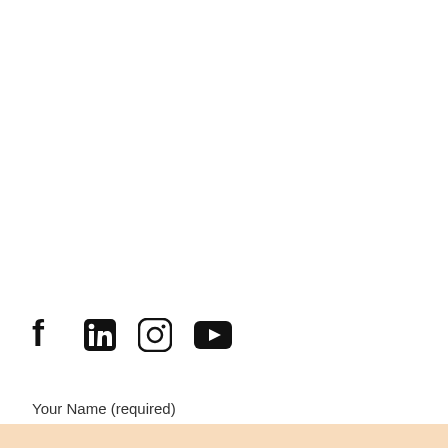[Figure (illustration): Four social media icons in black: Facebook (f), LinkedIn (in), Instagram (circle with camera outline), YouTube (play button rectangle)]
Your Name (required)
[Figure (other): Light peach/orange colored input field background]